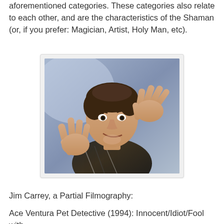aforementioned categories. These categories also relate to each other, and are the characteristics of the Shaman (or, if you prefer: Magician, Artist, Holy Man, etc).
[Figure (photo): Jim Carrey in a promotional photo, making expressive hand gestures with both hands raised, wearing a patterned shirt, against a blue background.]
Jim Carrey, a Partial Filmography:
Ace Ventura Pet Detective (1994): Innocent/Idiot/Fool with Persona of exaggeration with animal abilities, Fool of the...